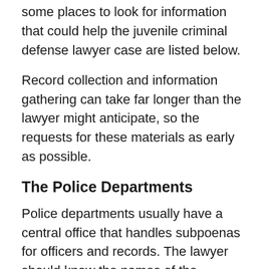some places to look for information that could help the juvenile criminal defense lawyer case are listed below.
Record collection and information gathering can take far longer than the lawyer might anticipate, so the requests for these materials as early as possible.
The Police Departments
Police departments usually have a central office that handles subpoenas for officers and records. The lawyer should know the names of the documents used by the police in the lawyer's jurisdiction, so he can ask for them correctly. Because the police and prosecution work very closely, any information he requests of them they will and let the lawyer receive it.